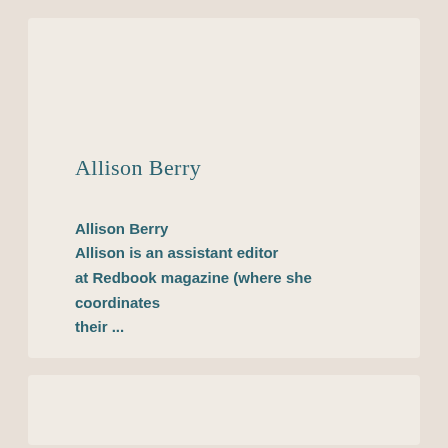Allison Berry
Allison Berry
Allison is an assistant editor at Redbook magazine (where she coordinates their ...